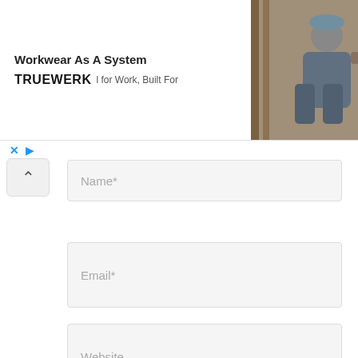[Figure (screenshot): Advertisement banner for TRUEWERK workwear. Shows logo, tagline 'Workwear As A System', subtitle 'l for Work, Built For', and a photo of a man working outdoors. Controls with X and play button below.]
Name*
Email*
Website
Save my name, email, and website in this browser for the next time I comment.
Post Comment »